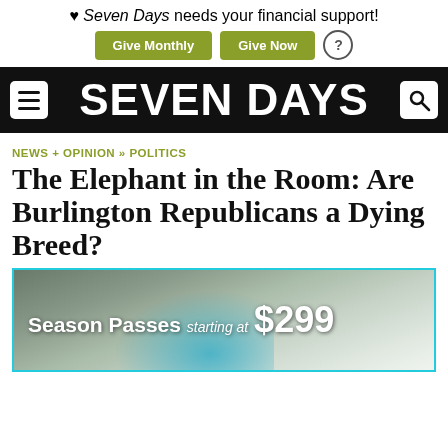❤ Seven Days needs your financial support!
Give Monthly | Give Now | ?
SEVEN DAYS
NEWS + OPINION » POLITICS
The Elephant in the Room: Are Burlington Republicans a Dying Breed?
[Figure (photo): Advertisement banner for ski season passes starting at $299, showing a skier on a snowy slope with teal border]